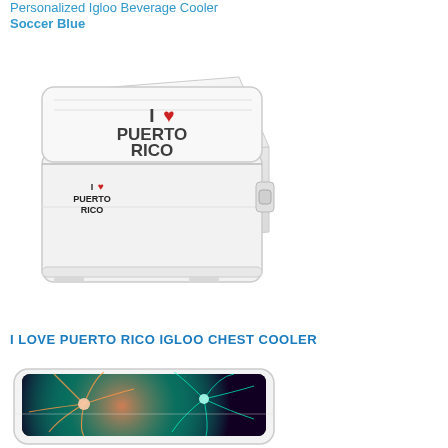Personalized Igloo Beverage Cooler
Soccer Blue
[Figure (photo): White Igloo chest cooler with 'I Love Puerto Rico' text printed on top and side. The text on top is in dark gray with a red heart, and on the side in black with a red heart.]
I LOVE PUERTO RICO IGLOO CHEST COOLER
[Figure (photo): White Igloo chest cooler with colorful fireworks/abstract design printed on top, partially visible at bottom of page.]